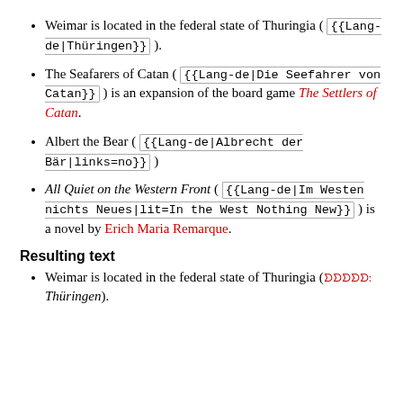Weimar is located in the federal state of Thuringia ( {{Lang-de|Thüringen}} ).
The Seafarers of Catan ( {{Lang-de|Die Seefahrer von Catan}} ) is an expansion of the board game The Settlers of Catan.
Albert the Bear ( {{Lang-de|Albrecht der Bär|links=no}} )
All Quiet on the Western Front ( {{Lang-de|Im Westen nichts Neues|lit=In the West Nothing New}} ) is a novel by Erich Maria Remarque.
Resulting text
Weimar is located in the federal state of Thuringia (Deutsch: Thüringen).